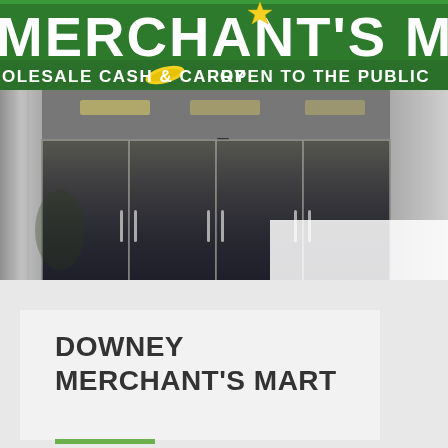[Figure (photo): Exterior photograph of Merchant's Mart store showing the green sign with white text reading 'MERCHANT'S MART' and 'WHOLESALE CASH & CARRY OPEN TO THE PUBLIC', with glass entrance doors below.]
DOWNEY MERCHANT'S MART